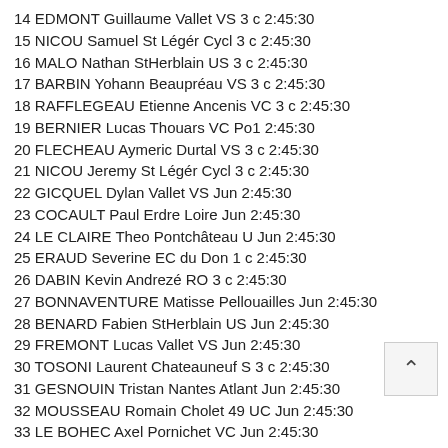14 EDMONT Guillaume Vallet VS 3 c 2:45:30
15 NICOU Samuel St Légér Cycl 3 c 2:45:30
16 MALO Nathan StHerblain US 3 c 2:45:30
17 BARBIN Yohann Beaupréau VS 3 c 2:45:30
18 RAFFLEGEAU Etienne Ancenis VC 3 c 2:45:30
19 BERNIER Lucas Thouars VC Po1 2:45:30
20 FLECHEAU Aymeric Durtal VS 3 c 2:45:30
21 NICOU Jeremy St Légér Cycl 3 c 2:45:30
22 GICQUEL Dylan Vallet VS Jun 2:45:30
23 COCAULT Paul Erdre Loire Jun 2:45:30
24 LE CLAIRE Theo Pontchâteau U Jun 2:45:30
25 ERAUD Severine EC du Don 1 c 2:45:30
26 DABIN Kevin Andrezé RO 3 c 2:45:30
27 BONNAVENTURE Matisse Pellouailles Jun 2:45:30
28 BENARD Fabien StHerblain US Jun 2:45:30
29 FREMONT Lucas Vallet VS Jun 2:45:30
30 TOSONI Laurent Chateauneuf S 3 c 2:45:30
31 GESNOUIN Tristan Nantes Atlant Jun 2:45:30
32 MOUSSEAU Romain Cholet 49 UC Jun 2:45:30
33 LE BOHEC Axel Pornichet VC Jun 2:45:30
34 DRIANNE Corentin Ancenis VC Jun 2:45:30
35 FEAUVEAU Benjamin St Sébastien 3 c 2:45:30
36 CORBES Simon St Sébastien Jun 2:45:30
37 THIBAUD Alois POC C Lumière Jun 2:45:30